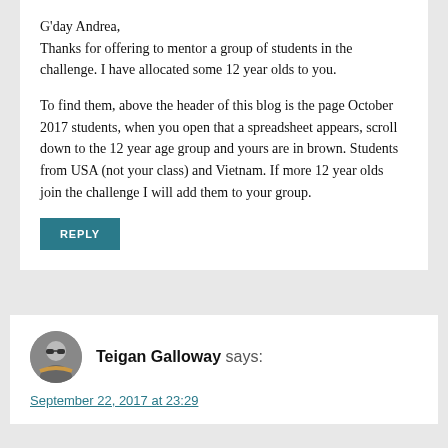G'day Andrea,
Thanks for offering to mentor a group of students in the challenge. I have allocated some 12 year olds to you.

To find them, above the header of this blog is the page October 2017 students, when you open that a spreadsheet appears, scroll down to the 12 year age group and yours are in brown. Students from USA (not your class) and Vietnam. If more 12 year olds join the challenge I will add them to your group.
REPLY
Teigan Galloway says:
September 22, 2017 at 23:29